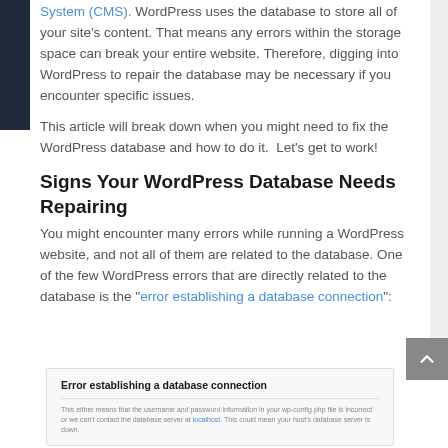System (CMS). WordPress uses the database to store all of your site's content. That means any errors within the storage space can break your entire website. Therefore, digging into WordPress to repair the database may be necessary if you encounter specific issues.
This article will break down when you might need to fix the WordPress database and how to do it. Let's get to work!
Signs Your WordPress Database Needs Repairing
You might encounter many errors while running a WordPress website, and not all of them are related to the database. One of the few WordPress errors that are directly related to the database is the "error establishing a database connection":
[Figure (screenshot): Screenshot of WordPress error message box showing 'Error establishing a database connection' with explanatory text about username/password information in wp-config.php being incorrect.]